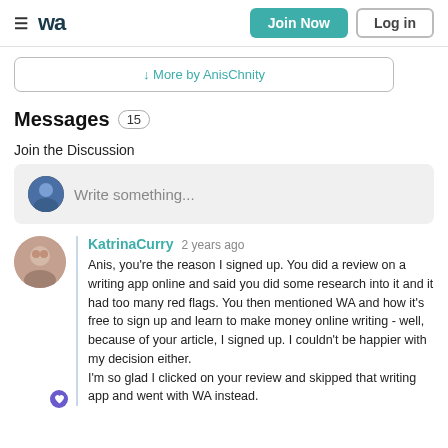WA | Join Now | Log in
↓ More by AnisChnity
Messages 15
Join the Discussion
Write something...
KatrinaCurry 2 years ago
Anis, you're the reason I signed up. You did a review on a writing app online and said you did some research into it and it had too many red flags. You then mentioned WA and how it's free to sign up and learn to make money online writing - well, because of your article, I signed up. I couldn't be happier with my decision either.
I'm so glad I clicked on your review and skipped that writing app and went with WA instead.